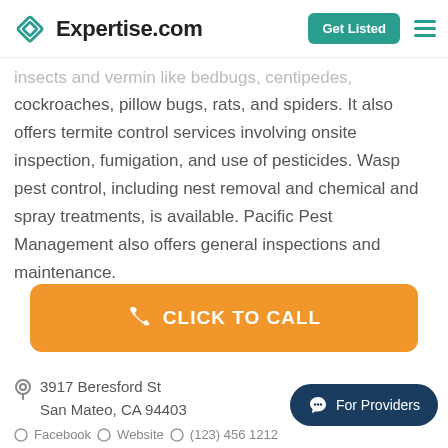Expertise.com | Get Listed
insects and vermin like bedbugs, centipedes, cockroaches, pillow bugs, rats, and spiders. It also offers termite control services involving onsite inspection, fumigation, and use of pesticides. Wasp pest control, including nest removal and chemical and spray treatments, is available. Pacific Pest Management also offers general inspections and maintenance.
CLICK TO CALL
3917 Beresford St San Mateo, CA 94403
For Providers
Facebook  Website  (123) 456 1212